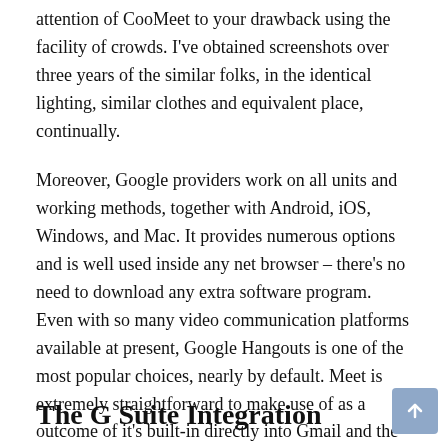attention of CooMeet to your drawback using the facility of crowds. I've obtained screenshots over three years of the similar folks, in the identical lighting, similar clothes and equivalent place, continually.
Moreover, Google providers work on all units and working methods, together with Android, iOS, Windows, and Mac. It provides numerous options and is well used inside any net browser – there's no need to download any extra software program. Even with so many video communication platforms available at present, Google Hangouts is one of the most popular choices, nearly by default. Meet is extremely straightforward to make use of as a outcome of it's built-in directly into Gmail and the G Suite.
The G Suite Integration